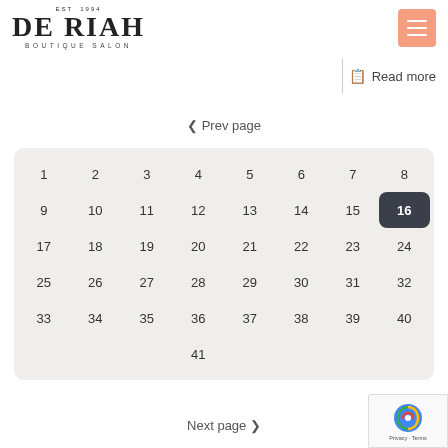[Figure (logo): De Riah Boutique Salon logo with EST 1994 text above and BOUTIQUE SALON below]
Read more
< Prev page
| 1 | 2 | 3 | 4 | 5 | 6 | 7 | 8 |
| 9 | 10 | 11 | 12 | 13 | 14 | 15 | 16 |
| 17 | 18 | 19 | 20 | 21 | 22 | 23 | 24 |
| 25 | 26 | 27 | 28 | 29 | 30 | 31 | 32 |
| 33 | 34 | 35 | 36 | 37 | 38 | 39 | 40 |
|  |  |  | 41 |  |  |  |  |
Next page >